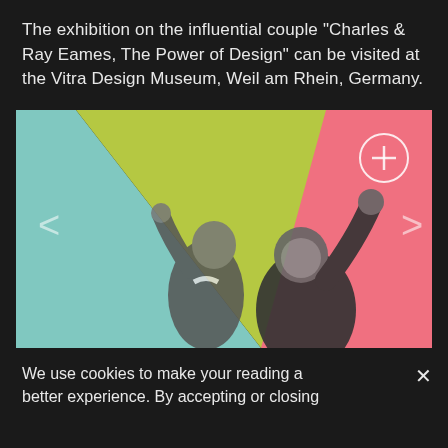The exhibition on the influential couple "Charles & Ray Eames, The Power of Design" can be visited at the Vitra Design Museum, Weil am Rhein, Germany.
[Figure (photo): Colorful graphic image with light blue, yellow-green, and pink triangular background panels. Two people in black and white raising their hands, shown from the waist up. Navigation arrows on left and right sides, and a circle with plus sign in upper right corner.]
We use cookies to make your reading a better experience. By accepting or closing